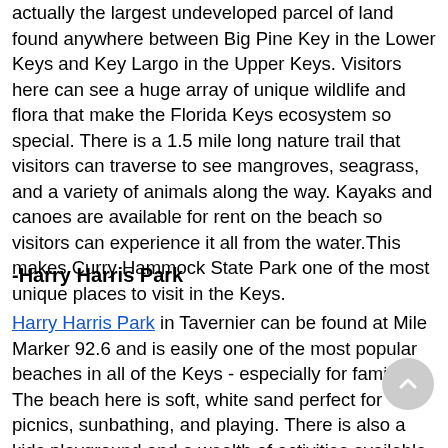actually the largest undeveloped parcel of land found anywhere between Big Pine Key in the Lower Keys and Key Largo in the Upper Keys. Visitors here can see a huge array of unique wildlife and flora that make the Florida Keys ecosystem so special. There is a 1.5 mile long nature trail that visitors can traverse to see mangroves, seagrass, and a variety of animals along the way. Kayaks and canoes are available for rent on the beach so visitors can experience it all from the water.This makes Curry Hammock State Park one of the most unique places to visit in the Keys.
-Harry Harris Park
Harry Harris Park in Tavernier can be found at Mile Marker 92.6 and is easily one of the most popular beaches in all of the Keys - especially for families. The beach here is soft, white sand perfect for picnics, sunbathing, and playing. There is also a kids playground and a wealth of activities available including sand volleyball courts...